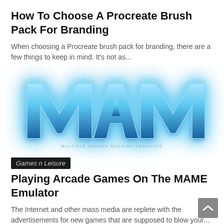How To Choose A Procreate Brush Pack For Branding
When choosing a Procreate brush pack for branding, there are a few things to keep in mind. It's not as...
[Figure (logo): MAME logo — blue 3D metallic lettering with glowing light-blue aura on white background]
Games n Leisure
Playing Arcade Games On The MAME Emulator
The Internet and other mass media are replete with the advertisements for new games that are supposed to blow your...